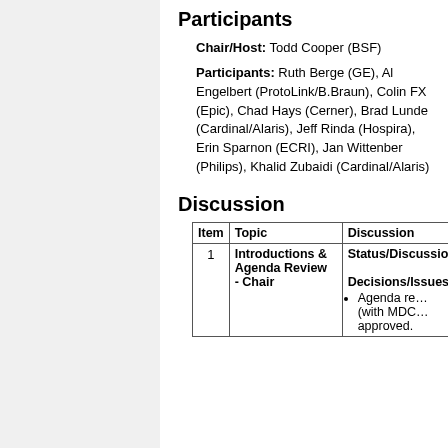Participants
Chair/Host: Todd Cooper (BSF)
Participants: Ruth Berge (GE), Al Engelbert (ProtoLink/B.Braun), Colin FX (Epic), Chad Hays (Cerner), Brad Lunde (Cardinal/Alaris), Jeff Rinda (Hospira), Erin Sparnon (ECRI), Jan Wittenber (Philips), Khalid Zubaidi (Cardinal/Alaris)
Discussion
| Item | Topic | Discussion |
| --- | --- | --- |
| 1 | Introductions & Agenda Review
- Chair | Status/Discussion
Decisions/Issues
• Agenda re... (with MDC... approved. |